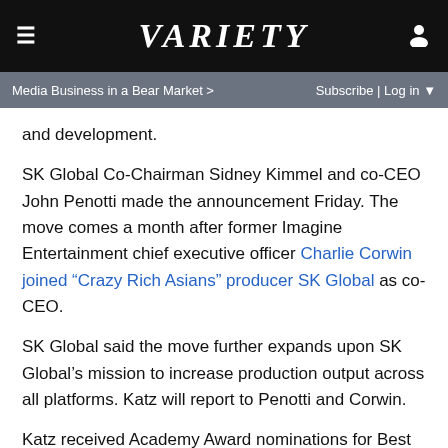VARIETY
Media Business in a Bear Market >   Subscribe | Log in
and development.
SK Global Co-Chairman Sidney Kimmel and co-CEO John Penotti made the announcement Friday. The move comes a month after former Imagine Entertainment chief executive officer Charlie Corwin joined “Crazy Rich Asians” producer SK Global as co-CEO.
SK Global said the move further expands upon SK Global’s mission to increase production output across all platforms. Katz will report to Penotti and Corwin.
Katz received Academy Award nominations for Best Picture for “Lost in Translation” and “In the Bedroom.” His producing credits include “Marie Antoinette,” “Story of a Girl,” “The Laramie Project” and “Taking Chance,” for which he won both a WGA and a DGA award. Most recently, Katz served as